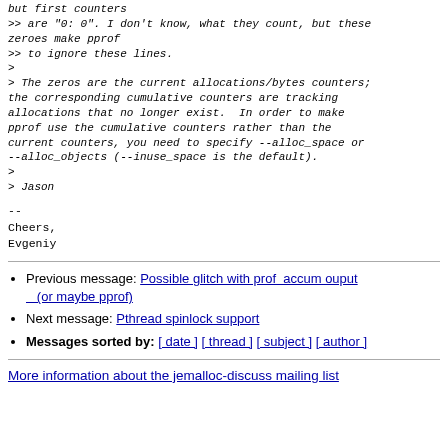but first counters
>> are "0: 0". I don't know, what they count, but these zeroes make pprof
>> to ignore these lines.
>
> The zeros are the current allocations/bytes counters; the corresponding cumulative counters are tracking allocations that no longer exist.  In order to make pprof use the cumulative counters rather than the current counters, you need to specify --alloc_space or --alloc_objects (--inuse_space is the default).
>
> Jason
--
Cheers,
Evgeniy
Previous message: Possible glitch with prof  accum ouput (or maybe pprof)
Next message: Pthread spinlock support
Messages sorted by: [ date ] [ thread ] [ subject ] [ author ]
More information about the jemalloc-discuss mailing list